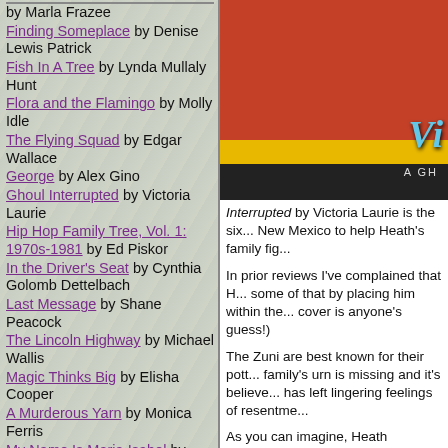by Marla Frazee
Finding Someplace by Denise Lewis Patrick
Fish In A Tree by Lynda Mullaly Hunt
Flora and the Flamingo by Molly Idle
The Flying Squad by Edgar Wallace
George by Alex Gino
Ghoul Interrupted by Victoria Laurie
Hip Hop Family Tree, Vol. 1: 1970s-1981 by Ed Piskor
In the Driver's Seat by Cynthia Golomb Dettelbach
Last Message by Shane Peacock
The Lincoln Highway by Michael Wallis
Magic Thinks Big by Elisha Cooper
A Murderous Yarn by Monica Ferris
My Name Is Maria Isabel by Alma Flor Ada
Return to Augie Hobble by Lane Smith
[Figure (photo): Book cover for Ghoul Interrupted by Victoria Laurie, showing a red and dark background with stylized italic lettering in teal.]
Interrupted by Victoria Laurie is the six... New Mexico to help Heath's family fig...
In prior reviews I've complained that H... some of that by placing him within the... cover is anyone's guess!)
The Zuni are best known for their pott... family's urn is missing and it's believe... has left lingering feelings of resentme...
As you can imagine, Heath returning t... over well. That she also claims to be i... and a respected member of the Puebl...
In the midst of all of this, there's what...